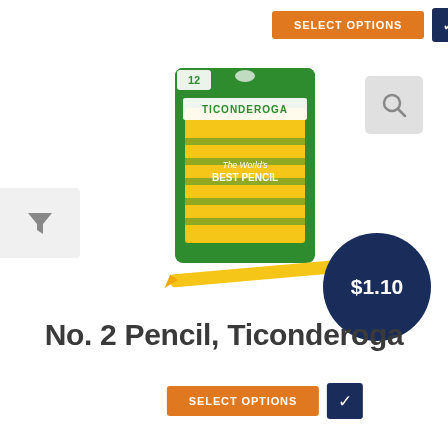[Figure (screenshot): Orange SELECT OPTIONS button with dark navy checkmark button beside it, at the top of the page]
[Figure (photo): Ticonderoga No. 2 pencil 12-pack box, yellow and green packaging, with a single pencil in front and a $1.10 price badge circle overlay. A magnifier/zoom icon appears top right. A filter funnel icon appears on the left side.]
No. 2 Pencil, Ticonderoga
[Figure (screenshot): Orange SELECT OPTIONS button with dark navy checkmark button beside it, at the bottom of the page]